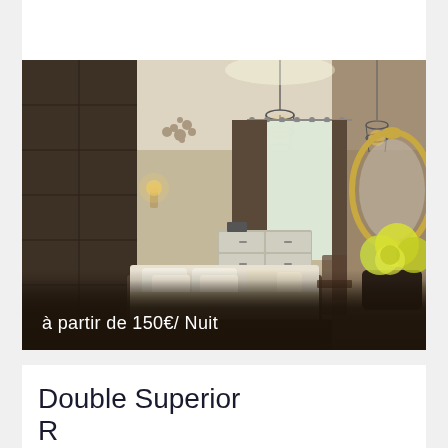[Figure (photo): Hotel double superior room with warm ambient lighting, pendant cage light fixture on ceiling, wall sconce, double bed with white pillows, chest of drawers, sheer curtain on window, and in the foreground a decorative mirror and yellow flowers. Text overlay at bottom: 'à partir de 150€/ Nuit'.]
Double Superior